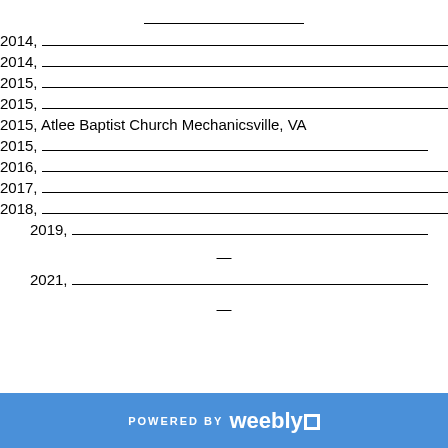_______________
2014, ___________________________________________
2014, _________________________________
2015, ________________________________
2015, ________________________________
2015, Atlee Baptist Church Mechanicsville, VA
2015, ____________________________
2016, ________________________________
2017, _____________________________
2018, ____________________________
2019, _________________________________________
—
2021, _______________________________________
—
POWERED BY weebly